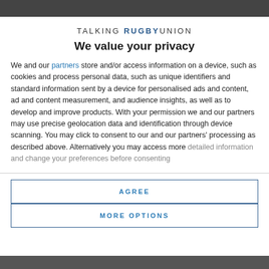[Figure (photo): Partial photo of a rugby player visible at the top of the page behind the privacy modal overlay]
TALKING RUGBY UNION
We value your privacy
We and our partners store and/or access information on a device, such as cookies and process personal data, such as unique identifiers and standard information sent by a device for personalised ads and content, ad and content measurement, and audience insights, as well as to develop and improve products. With your permission we and our partners may use precise geolocation data and identification through device scanning. You may click to consent to our and our partners' processing as described above. Alternatively you may access more detailed information and change your preferences before consenting
AGREE
MORE OPTIONS
[Figure (photo): Partial photo of a rugby scene visible at the bottom of the page behind the privacy modal overlay]